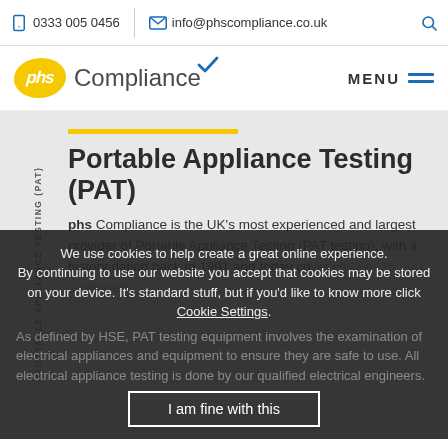0333 005 0456   info@phscompliance.co.uk
[Figure (logo): phs Compliance logo with yellow oval and blue checkmark]
Portable Appliance Testing (PAT)
phs Compliance is the UK's most experienced and largest provider of Portable Appliance Testing (PAT testing), with a history dating back to 1991 and today covering over 35,000 customers.
As defined by HSE, PAT testing equipment involves the examination of electrical appliances and equipment to ensure they are safe to use. All electrical appliance testing is done by our qualified electrical engineers.
We use cookies to help create a great online experience. By continuing to use our website you accept that cookies may be stored on your device. It's standard stuff, but if you'd like to know more click Cookie Settings.
I am fine with this